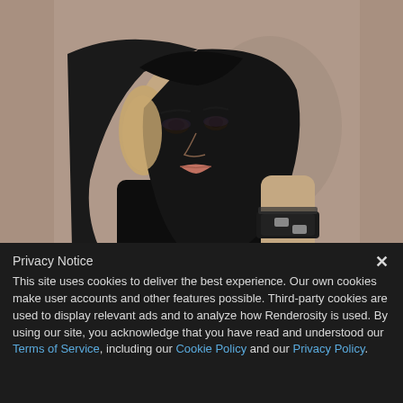[Figure (illustration): 3D rendered digital illustration of a young woman with long black hair shaved on one side, wearing a black top and a leather wristband with buckles, looking back over her shoulder against a brownish-grey background.]
Privacy Notice
This site uses cookies to deliver the best experience. Our own cookies make user accounts and other features possible. Third-party cookies are used to display relevant ads and to analyze how Renderosity is used. By using our site, you acknowledge that you have read and understood our Terms of Service, including our Cookie Policy and our Privacy Policy.